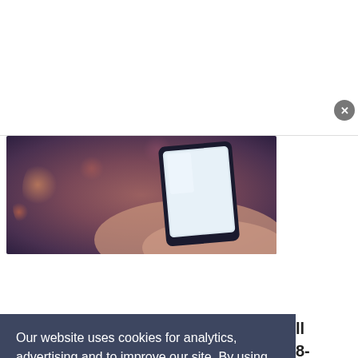[Figure (photo): A hand holding a smartphone with a bright screen against a blurred bokeh background with warm orange and pink tones]
Our website uses cookies for analytics, advertising and to improve our site. By using our site you agree to our use of cookies. To find out more, including how to change your settings, see our Cookie Policy  Learn More
[Figure (screenshot): Advertisement for ShoeMall Shoes showing shoe images, brand logos, and text: Your favorite shoe brands are here, www.shoemall.com, with a blue arrow button on the right]